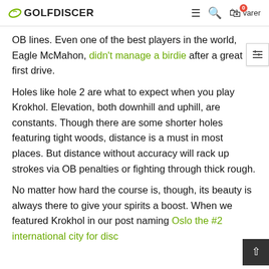GOLFDISCER
OB lines. Even one of the best players in the world, Eagle McMahon, didn't manage a birdie after a great first drive.
Holes like hole 2 are what to expect when you play Krokhol. Elevation, both downhill and uphill, are constants. Though there are some shorter holes featuring tight woods, distance is a must in most places. But distance without accuracy will rack up strokes via OB penalties or fighting through thick rough.
No matter how hard the course is, though, its beauty is always there to give your spirits a boost. When we featured Krokhol in our post naming Oslo the #2 international city for disc